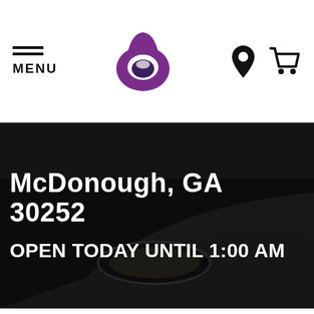MENU | Taco Bell logo | Location icon | Cart icon
McDonough, GA 30252
OPEN TODAY UNTIL 1:00 AM
[Figure (screenshot): Taco Bell restaurant parking lot/drive-through area, dark overlay]
[Figure (illustration): Takeout bag icon with Taco Bell logo]
[Figure (illustration): Delivery location pin icon with Taco Bell logo]
[Figure (illustration): Directions arrow icon (diamond shape with right-turn arrow)]
Takeout
Delivery
Direction